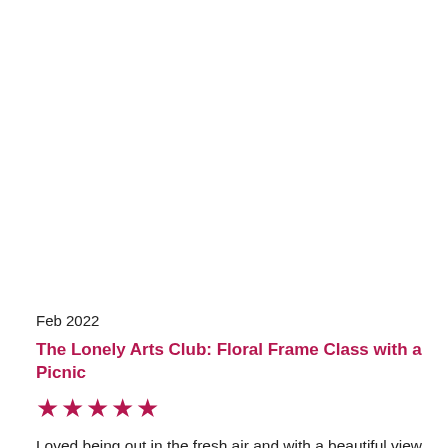Feb 2022
The Lonely Arts Club: Floral Frame Class with a Picnic
★★★★★
Loved being out in the fresh air and with a beautiful view and meeting new people. It was such a great day and so fun! Loved making the photo frame! I love Nikki's classes!